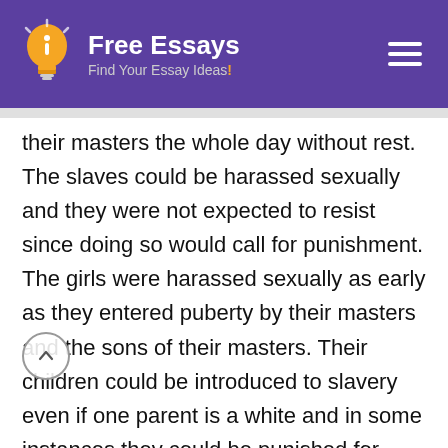Free Essays — Find Your Essay Ideas!
their masters the whole day without rest. The slaves could be harassed sexually and they were not expected to resist since doing so would call for punishment. The girls were harassed sexually as early as they entered puberty by their masters and the sons of their masters. Their children could be introduced to slavery even if one parent is a white and in some instances they could be punished for getting a child with the white since they were believed to have been the seducers. The slaves, just like animals were beaten to force them to work even faster.